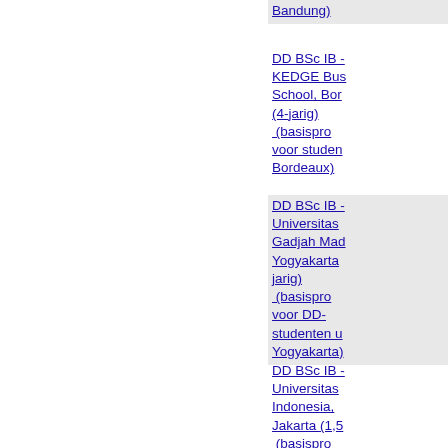Bandung)
DD BSc IB - KEDGE Business School, Bordeaux (4-jarig) (basisprogramma voor studenten Bordeaux)
DD BSc IB - Universitas Gadjah Mada, Yogyakarta (... jarig) (basisprogramma voor DD-studenten uit Yogyakarta)
DD BSc IB - Universitas Indonesia, Jakarta (1,5...) (basisprogramma voor DD-studenten uit Jakarta)